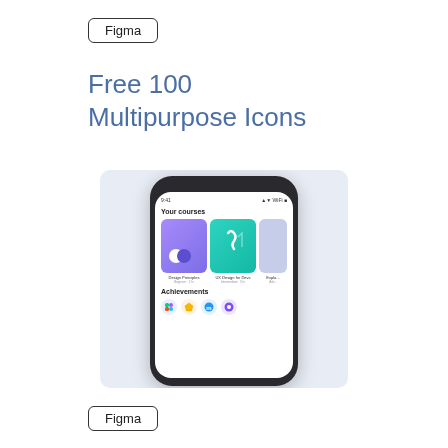Figma
Free 100 Multipurpose Icons
[Figure (screenshot): Mobile phone mockup showing a course app UI with 'Your courses' section displaying Design Principles (purple card) and UX Design for Devs (teal card) course cards, and an 'Achievements' section with app icons (Figma, Sketch, Marvel, and another app icon)]
Figma